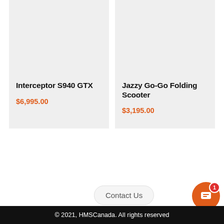Interceptor S940 GTX
$6,995.00
Jazzy Go-Go Folding Scooter
$3,195.00
Contact Us
© 2021, HMSCanada. All rights reserved